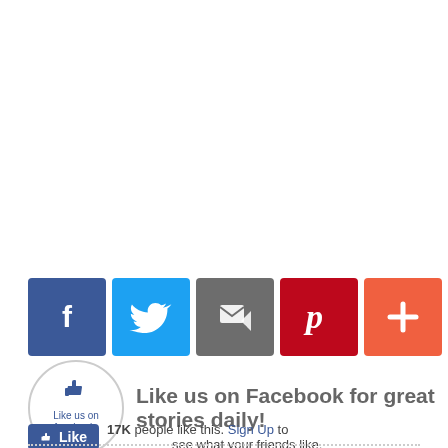[Figure (infographic): Row of 5 social share buttons: Facebook (blue with f icon), Twitter (light blue with bird icon), Email/Feedburner (dark grey with envelope/cursor icon), Pinterest (red with P icon), Google+ or more (orange-red with + icon)]
[Figure (logo): Circular badge with thumbs up icon and text 'Like us on facebook.' with Facebook logo at bottom]
Like us on Facebook for great stories daily!
17K people like this. Sign Up to see what your friends like.